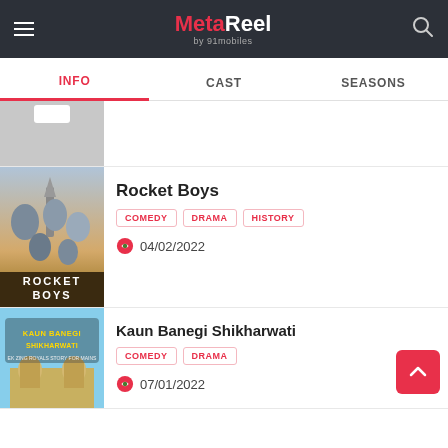MetaReel by 91mobiles — INFO | CAST | SEASONS
[Figure (screenshot): Partial show thumbnail with gray background and white tab indicator]
[Figure (photo): Rocket Boys movie poster showing cast members and rocket, with text ROCKET BOYS]
Rocket Boys
COMEDY  DRAMA  HISTORY
04/02/2022
[Figure (photo): Kaun Banegi Shikharwati poster with building and colorful text]
Kaun Banegi Shikharwati
COMEDY  DRAMA
07/01/2022